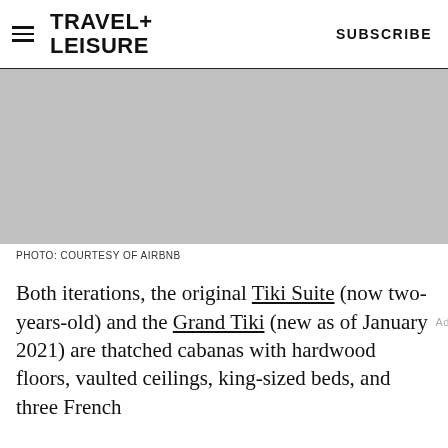TRAVEL+LEISURE   SUBSCRIBE
[Figure (photo): Gray placeholder photo area representing an Airbnb Tiki Suite image]
PHOTO: COURTESY OF AIRBNB
Both iterations, the original Tiki Suite (now two-years-old) and the Grand Tiki (new as of January 2021) are thatched cabanas with hardwood floors, vaulted ceilings, king-sized beds, and three French